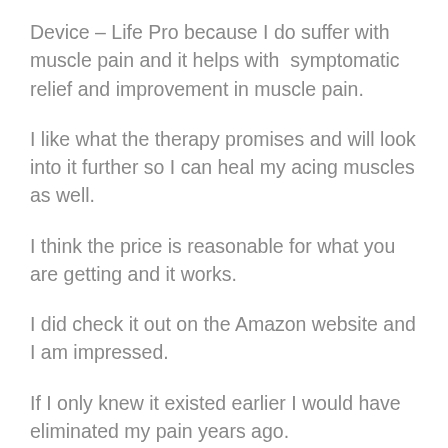Device – Life Pro because I do suffer with muscle pain and it helps with symptomatic relief and improvement in muscle pain.
I like what the therapy promises and will look into it further so I can heal my acing muscles as well.
I think the price is reasonable for what you are getting and it works.
I did check it out on the Amazon website and I am impressed.
If I only knew it existed earlier I would have eliminated my pain years ago.
I learned a lot from Your Blog, Thank You.